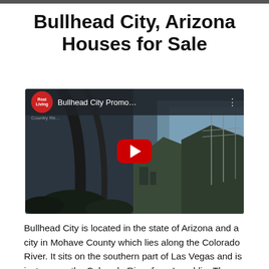Bullhead City, Arizona Houses for Sale
[Figure (screenshot): YouTube video thumbnail for 'Bullhead City Promo...' by Real Living. Shows a scenic outdoor image with a red YouTube play button in the center. Video header shows the Real Living logo (red circle) and video title text.]
Bullhead City is located in the state of Arizona and a city in Mohave County which lies along the Colorado River. It sits on the southern part of Las Vegas and is just across the Colorado River from Laughlin. The city's